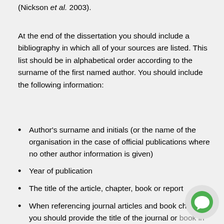(Nickson et al. 2003).
At the end of the dissertation you should include a bibliography in which all of your sources are listed. This list should be in alphabetical order according to the surname of the first named author. You should include the following information:
Author's surname and initials (or the name of the organisation in the case of official publications where no other author information is given)
Year of publication
The title of the article, chapter, book or report
When referencing journal articles and book chapters you should provide the title of the journal or book in which the piece was published. The title should be printed in italics